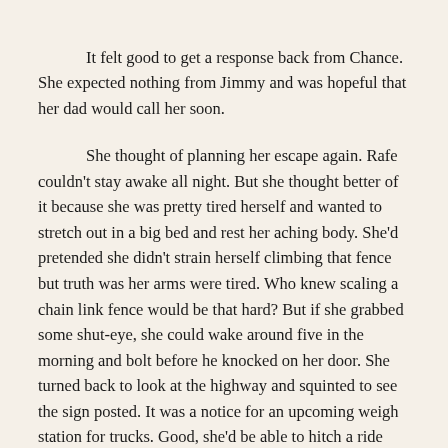It felt good to get a response back from Chance. She expected nothing from Jimmy and was hopeful that her dad would call her soon.

She thought of planning her escape again. Rafe couldn't stay awake all night. But she thought better of it because she was pretty tired herself and wanted to stretch out in a big bed and rest her aching body. She'd pretended she didn't strain herself climbing that fence but truth was her arms were tired. Who knew scaling a chain link fence would be that hard? But if she grabbed some shut-eye, she could wake around five in the morning and bolt before he knocked on her door. She turned back to look at the highway and squinted to see the sign posted. It was a notice for an upcoming weigh station for trucks. Good, she'd be able to hitch a ride